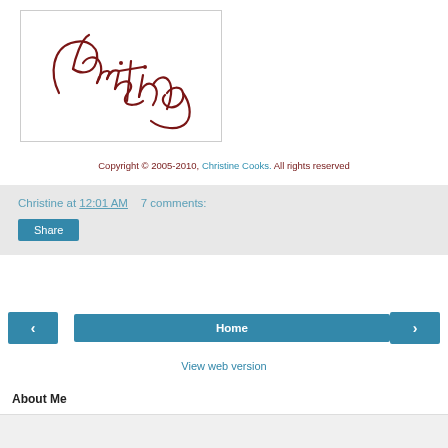[Figure (illustration): Handwritten cursive signature reading 'Christine' in dark red/maroon ink, inside a white box with a light gray border.]
Copyright © 2005-2010, Christine Cooks. All rights reserved
Christine at 12:01 AM    7 comments:
Share
Home
View web version
About Me